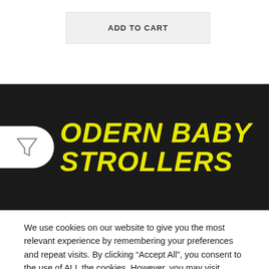ADD TO CART
[Figure (logo): Modern Baby Strollers brand logo in yellow italic bold text on black background, with a funnel/filter icon on a white rounded pill shape on the left]
We use cookies on our website to give you the most relevant experience by remembering your preferences and repeat visits. By clicking “Accept All”, you consent to the use of ALL the cookies. However, you may visit "Cookie Settings" to provide a controlled consent.
Cookie Settings
Accept All